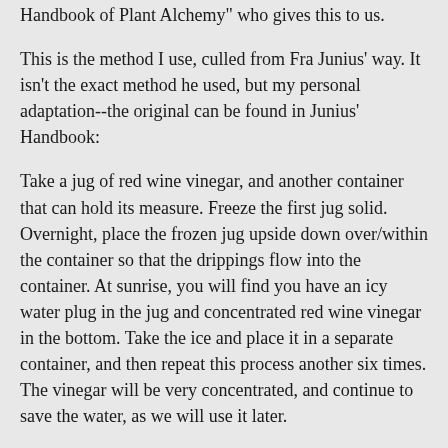Handbook of Plant Alchemy" who gives this to us.
This is the method I use, culled from Fra Junius' way. It isn't the exact method he used, but my personal adaptation--the original can be found in Junius' Handbook:
Take a jug of red wine vinegar, and another container that can hold its measure. Freeze the first jug solid. Overnight, place the frozen jug upside down over/within the container so that the drippings flow into the container. At sunrise, you will find you have an icy water plug in the jug and concentrated red wine vinegar in the bottom. Take the ice and place it in a separate container, and then repeat this process another six times. The vinegar will be very concentrated, and continue to save the water, as we will use it later.
Take up the concentrated vinegar, and distill it. You will have a red tincture in the retort, and a